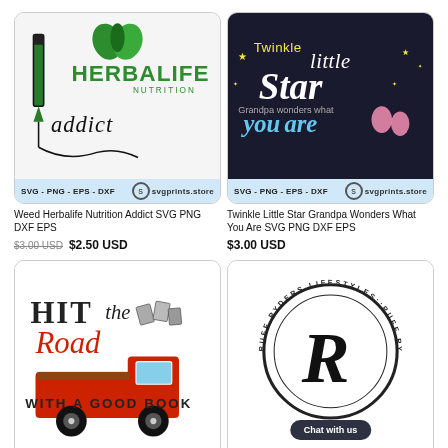[Figure (illustration): Herbalife Nutrition Addict SVG product card with crayons, Herbalife logo, and 'addict' text. Footer: SVG - PNG - EPS - DXF with svgprints.store logo]
Weed Herbalife Nutrition Addict SVG PNG DXF EPS
$3.00 USD  $2.50 USD
[Figure (illustration): Twinkle Little Star Grandpa Wonders What You Are SVG product card with dark background, star text art, baby footprints. Footer: SVG - PNG - EPS - DXF with svgprints.store logo]
Twinkle Little Star Grandpa Wonders What You Are SVG PNG DXF EPS
$3.00 USD
[Figure (illustration): Hit the Road With a Good Book SVG product card with red vintage truck carrying books. Footer: SVG - PNG - EPS - DXF with svgprints.store logo]
[Figure (illustration): Ruff Ryders Lifestyles circular logo SVG product card with letter R emblem. Chat with us badge overlay. Footer: SVG - PNG - EPS - DXF with svgprints.store logo]